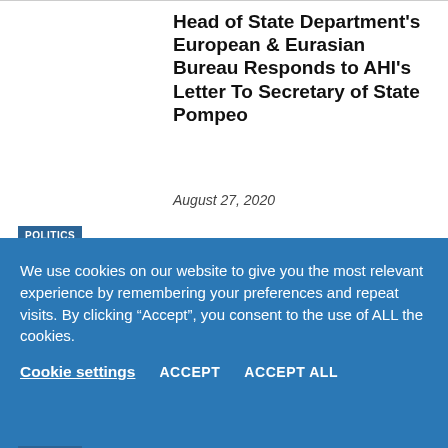Head of State Department's European & Eurasian Bureau Responds to AHI's Letter To Secretary of State Pompeo
August 27, 2020
POLITICS
AHI Welcomes State Department's High-Level Engagement with Greece and Cyprus
August 20, 2020
POLITICS
We use cookies on our website to give you the most relevant experience by remembering your preferences and repeat visits. By clicking “Accept”, you consent to the use of ALL the cookies.
Cookie settings   ACCEPT   ACCEPT ALL